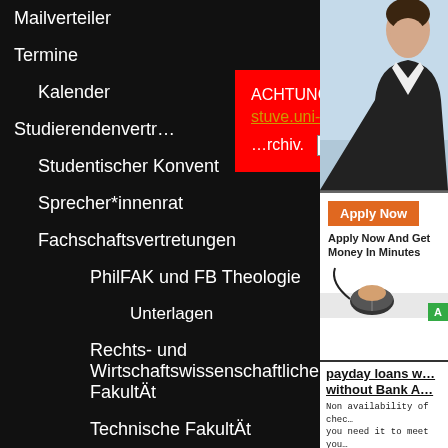Mailverteiler
Termine
Kalender
Studierendenvertr…
Studentischer Konvent
Sprecher*innenrat
Fachschaftsvertretungen
PhilFAK und FB Theologie
Unterlagen
Rechts- und Wirtschaftswissenschaftliche Fakultät
Technische Fakultät
Kalender
Sitzungen und Protokolle
Verein
FSIen
ACHTUNG: Die neue Stuve-Webseite ist unter [link] erreichbar. Hier ist nur noch …rchiv. X
[Figure (photo): Person in business attire, upper body, against light blue background]
[Figure (photo): Apply Now advertisement banner with orange button, showing hand on computer mouse, with green Apply button]
payday loans w… without Bank A…
Non availability of chec… you need it to meet you… requirement. But if do n…